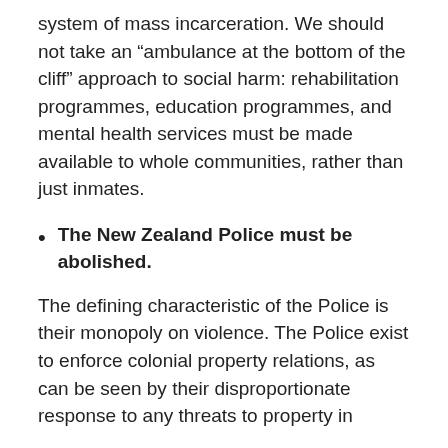system of mass incarceration. We should not take an “ambulance at the bottom of the cliff” approach to social harm: rehabilitation programmes, education programmes, and mental health services must be made available to whole communities, rather than just inmates.
The New Zealand Police must be abolished.
The defining characteristic of the Police is their monopoly on violence. The Police exist to enforce colonial property relations, as can be seen by their disproportionate response to any threats to property in